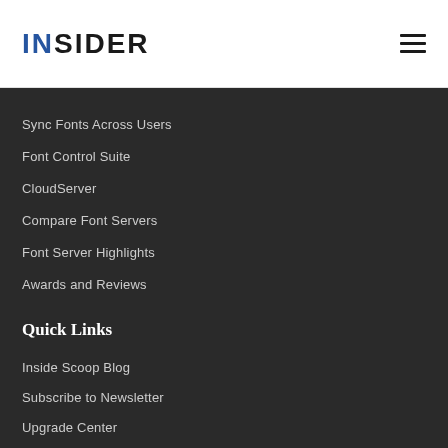INSIDER
Sync Fonts Across Users
Font Control Suite
CloudServer
Compare Font Servers
Font Server Highlights
Awards and Reviews
Quick Links
Inside Scoop Blog
Subscribe to Newsletter
Upgrade Center
Insider Store